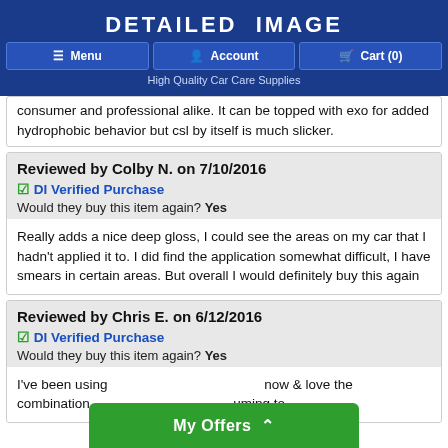DETAILED IMAGE — Menu | Account | Cart (0) — High Quality Car Care Supplies
consumer and professional alike. It can be topped with exo for added hydrophobic behavior but csl by itself is much slicker.
Reviewed by Colby N. on 7/10/2016
✅ DI Verified Purchase
Would they buy this item again? Yes
Really adds a nice deep gloss, I could see the areas on my car that I hadn't applied it to. I did find the application somewhat difficult, I have smears in certain areas. But overall I would definitely buy this again
Reviewed by Chris E. on 6/12/2016
✅ DI Verified Purchase
Would they buy this item again? Yes
I've been using now & love the combination uming to